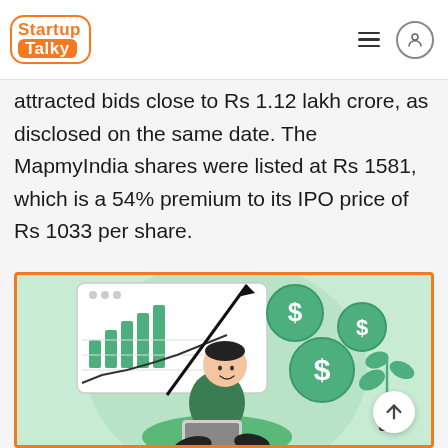StartupTalky
attracted bids close to Rs 1.12 lakh crore, as disclosed on the same date. The MapmyIndia shares were listed at Rs 1581, which is a 54% premium to its IPO price of Rs 1033 per share.
[Figure (illustration): Illustration of a person sitting in a chair using a laptop, with stock market charts, upward arrow, and dollar coin icons in the background on a green background, bordered with orange.]